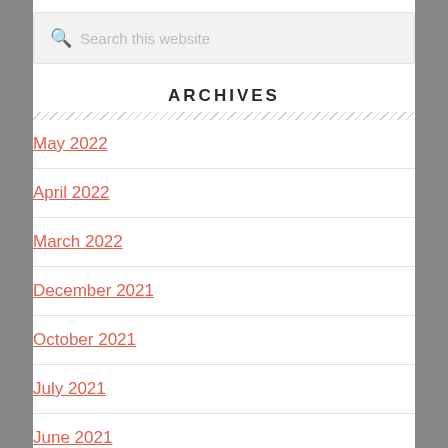Search this website
ARCHIVES
May 2022
April 2022
March 2022
December 2021
October 2021
July 2021
June 2021